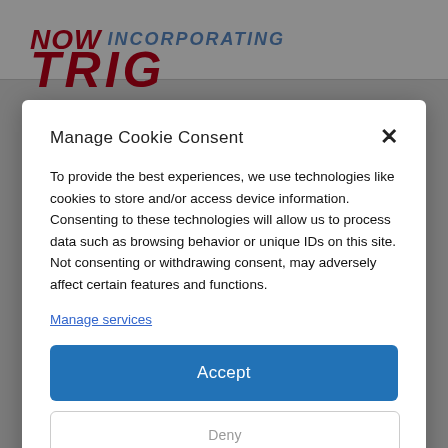[Figure (screenshot): Partially visible website header with 'NOW INCORPORATING' text and red stylized text below, overlaid by a cookie consent modal dialog]
Manage Cookie Consent
To provide the best experiences, we use technologies like cookies to store and/or access device information. Consenting to these technologies will allow us to process data such as browsing behavior or unique IDs on this site. Not consenting or withdrawing consent, may adversely affect certain features and functions.
Manage services
Accept
Cookie Policy   Privacy Policy